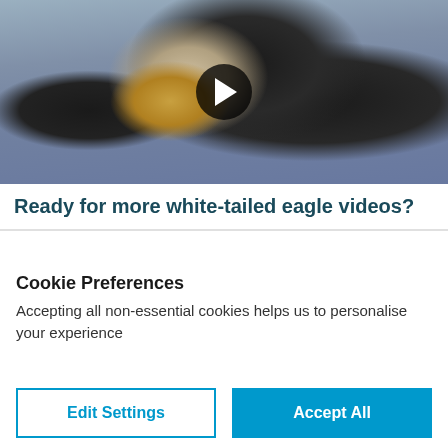[Figure (photo): A bald eagle in flight over water with wings spread, talons extended, with a video play button overlay in the center]
Ready for more white-tailed eagle videos?
Cookie Preferences
Accepting all non-essential cookies helps us to personalise your experience
Edit Settings
Accept All